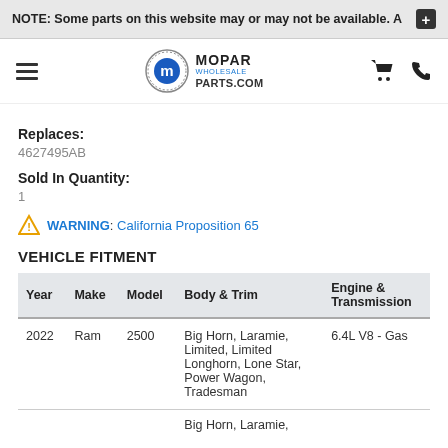NOTE: Some parts on this website may or may not be available. A +
[Figure (logo): Mopar Wholesale Parts.com logo with circular M emblem]
Replaces:
4627495AB
Sold In Quantity:
1
WARNING: California Proposition 65
VEHICLE FITMENT
| Year | Make | Model | Body & Trim | Engine & Transmission |
| --- | --- | --- | --- | --- |
| 2022 | Ram | 2500 | Big Horn, Laramie, Limited, Limited Longhorn, Lone Star, Power Wagon, Tradesman | 6.4L V8 - Gas |
|  |  |  | Big Horn, Laramie, |  |